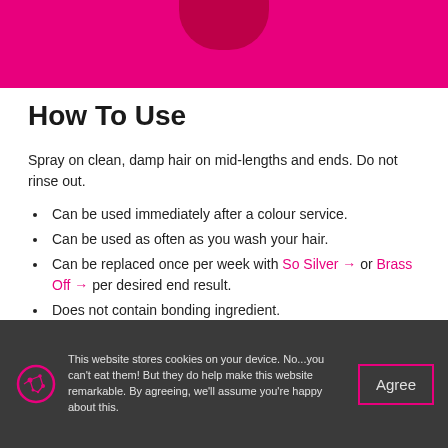[Figure (photo): Hot pink/magenta background hero image with a dark red/maroon curved shape at top center, partially cropped]
How To Use
Spray on clean, damp hair on mid-lengths and ends. Do not rinse out.
Can be used immediately after a colour service.
Can be used as often as you wash your hair.
Can be replaced once per week with So Silver → or Brass Off → per desired end result.
Does not contain bonding ingredient.
This website stores cookies on your device. No...you can't eat them! But they do help make this website remarkable. By agreeing, we'll assume you're happy about this.